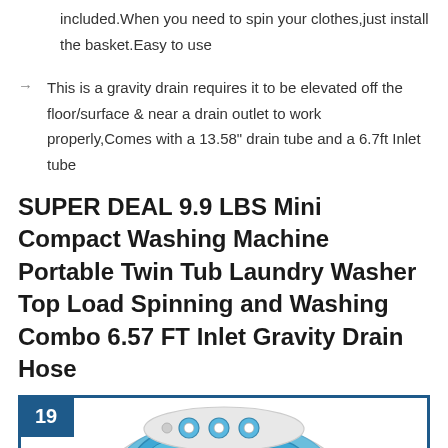included.When you need to spin your clothes,just install the basket.Easy to use
This is a gravity drain requires it to be elevated off the floor/surface & near a drain outlet to work properly,Comes with a 13.58" drain tube and a 6.7ft Inlet tube
SUPER DEAL 9.9 LBS Mini Compact Washing Machine Portable Twin Tub Laundry Washer Top Load Spinning and Washing Combo 6.57 FT Inlet Gravity Drain Hose
[Figure (photo): Product image of a mini compact twin tub washing machine with blue and white color, top view showing controls and dual tubs, numbered badge 19 in dark blue square at top left corner, surrounded by dark blue border]